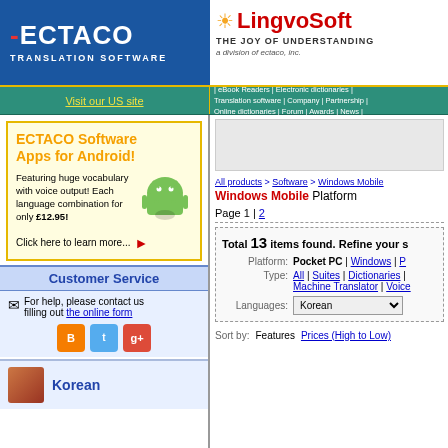[Figure (logo): ECTACO Translation Software logo on blue background, left side]
[Figure (logo): LingvoSoft logo with sun icon, red text, THE JOY OF UNDERSTANDING, a division of ectaco, inc.]
Visit our US site
| eBook Readers | Electronic dictionaries | Translation software | Company | Partnership | Online dictionaries | Forum | Awards | News |
[Figure (infographic): ECTACO Software Apps for Android! Featuring huge vocabulary with voice output! Each language combination for only £12.95! Click here to learn more... with Android robot icon]
Customer Service
For help, please contact us filling out the online form
[Figure (infographic): Social media icons: Blogger, Twitter, Google+]
Korean
All products > Software > Windows Mobile
Windows Mobile Platform
Page 1 | 2
Total 13 items found. Refine your s
Platform: Pocket PC | Windows | P
Type: All | Suites | Dictionaries | Machine Translator | Voice
Languages: Korean
Sort by: Features  Prices (High to Low)